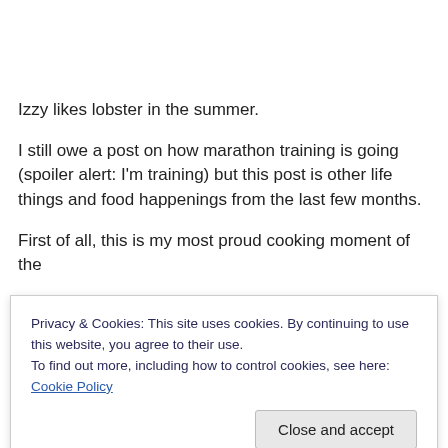Izzy likes lobster in the summer.
I still owe a post on how marathon training is going (spoiler alert: I'm training) but this post is other life things and food happenings from the last few months.
First of all, this is my most proud cooking moment of the summer 😊...
Privacy & Cookies: This site uses cookies. By continuing to use this website, you agree to their use.
To find out more, including how to control cookies, see here: Cookie Policy
Close and accept